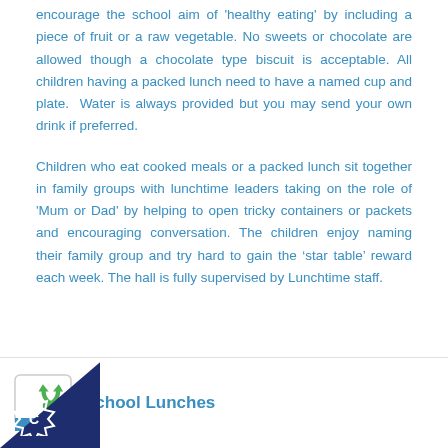encourage the school aim of 'healthy eating' by including a piece of fruit or a raw vegetable. No sweets or chocolate are allowed though a chocolate type biscuit is acceptable. All children having a packed lunch need to have a named cup and plate. Water is always provided but you may send your own drink if preferred.
Children who eat cooked meals or a packed lunch sit together in family groups with lunchtime leaders taking on the role of 'Mum or Dad' by helping to open tricky containers or packets and encouraging conversation. The children enjoy naming their family group and try hard to gain the ‘star table’ reward each week. The hall is fully supervised by Lunchtime staff.
[Figure (logo): Green recycling/page icon with 'PAGE' label below]
School Lunches